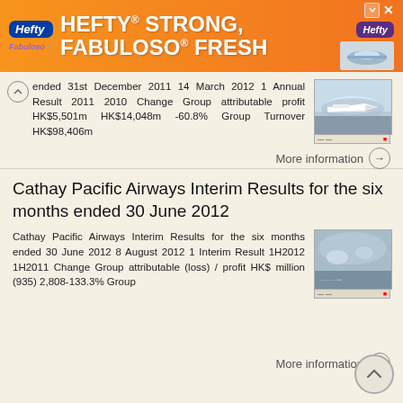[Figure (other): Hefty brand advertisement banner - orange background with Hefty and Fabuloso logos, text HEFTY STRONG, FABULOSO FRESH]
ended 31st December 2011 14 March 2012 1 Annual Result 2011 2010 Change Group attributable profit HK$5,501m HK$14,048m -60.8% Group Turnover HK$98,406m
More information →
Cathay Pacific Airways Interim Results for the six months ended 30 June 2012
Cathay Pacific Airways Interim Results for the six months ended 30 June 2012 8 August 2012 1 Interim Result 1H2012 1H2011 Change Group attributable (loss) / profit HK$ million (935) 2,808-133.3% Group
More information →